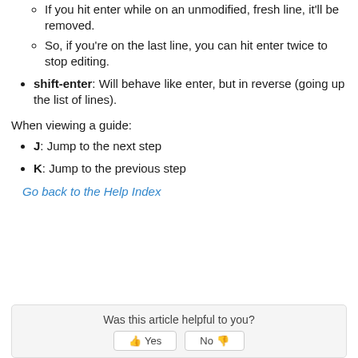If you hit enter while on an unmodified, fresh line, it'll be removed.
So, if you're on the last line, you can hit enter twice to stop editing.
shift-enter: Will behave like enter, but in reverse (going up the list of lines).
When viewing a guide:
J: Jump to the next step
K: Jump to the previous step
Go back to the Help Index
Was this article helpful to you?